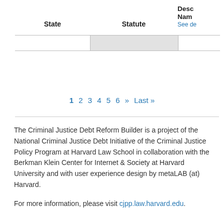| State | Statute | Description Name (See detail) |
| --- | --- | --- |
|  |  |  |
1 2 3 4 5 6 » Last »
The Criminal Justice Debt Reform Builder is a project of the National Criminal Justice Debt Initiative of the Criminal Justice Policy Program at Harvard Law School in collaboration with the Berkman Klein Center for Internet & Society at Harvard University and with user experience design by metaLAB (at) Harvard.
For more information, please visit cjpp.law.harvard.edu.